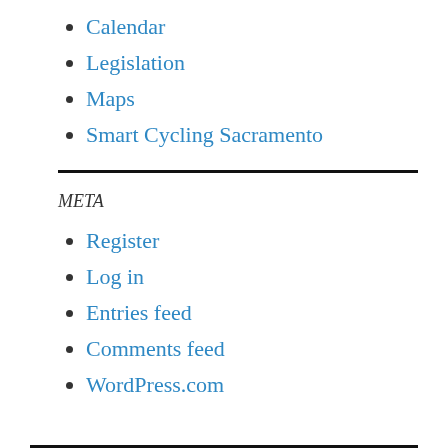Calendar
Legislation
Maps
Smart Cycling Sacramento
META
Register
Log in
Entries feed
Comments feed
WordPress.com